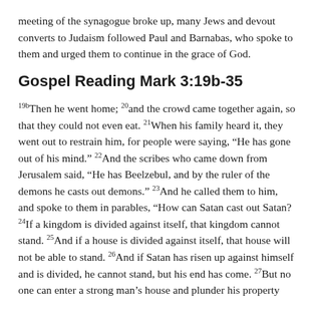meeting of the synagogue broke up, many Jews and devout converts to Judaism followed Paul and Barnabas, who spoke to them and urged them to continue in the grace of God.
Gospel Reading Mark 3:19b-35
19b Then he went home; 20 and the crowd came together again, so that they could not even eat. 21 When his family heard it, they went out to restrain him, for people were saying, “He has gone out of his mind.” 22 And the scribes who came down from Jerusalem said, “He has Beelzebul, and by the ruler of the demons he casts out demons.” 23 And he called them to him, and spoke to them in parables, “How can Satan cast out Satan? 24 If a kingdom is divided against itself, that kingdom cannot stand. 25 And if a house is divided against itself, that house will not be able to stand. 26 And if Satan has risen up against himself and is divided, he cannot stand, but his end has come. 27 But no one can enter a strong man’s house and plunder his property